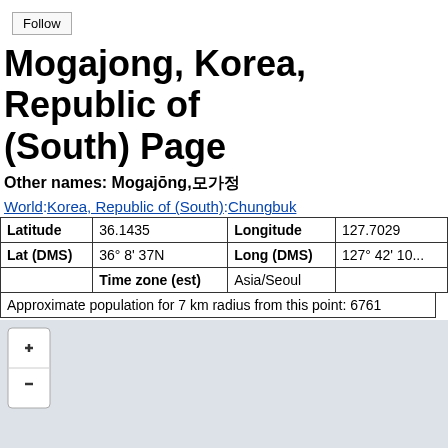Follow
Mogajong, Korea, Republic of (South) Page
Other names: Mogajōng,모가정
World:Korea, Republic of (South):Chungbuk
| Latitude | 36.1435 | Longitude | 127.7029 |
| --- | --- | --- | --- |
| Lat (DMS) | 36° 8' 37N | Long (DMS) | 127° 42' 10... |
|  | Time zone (est) | Asia/Seoul |  |
Approximate population for 7 km radius from this point: 6761
[Figure (map): Interactive map showing location of Mogajong with zoom controls (+/-). Map background is grey/blue showing geographic area.]